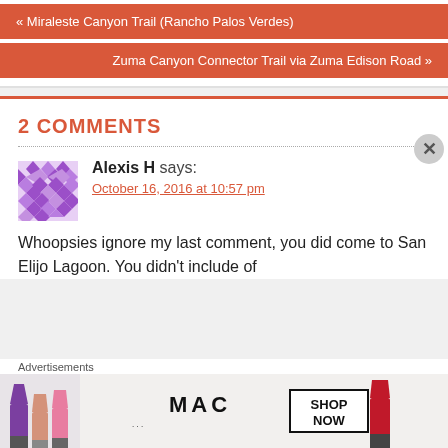« Miraleste Canyon Trail (Rancho Palos Verdes)
Zuma Canyon Connector Trail via Zuma Edison Road »
2 COMMENTS
Alexis H says:
October 16, 2016 at 10:57 pm
Whoopsies ignore my last comment, you did come to San Elijo Lagoon. You didn't include of
Advertisements
[Figure (photo): MAC cosmetics advertisement showing lipsticks in purple, peach, pink, and red colors with MAC logo and SHOP NOW button]